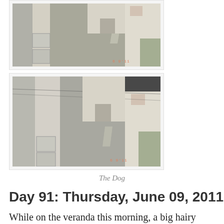[Figure (photo): Aerial/overhead view of a narrow Japanese street with white buildings, air conditioning units stacked on the left, a small alley between buildings, and plants on the right. Timestamp '6 9'11' visible in orange in lower right.]
[Figure (photo): Similar aerial/overhead view of the same narrow Japanese street with white buildings, air conditioning units, narrow alley, and plants. Timestamp '6 9'11' visible in orange in lower right.]
The Dog
Day 91: Thursday, June 09, 2011
While on the veranda this morning, a big hairy